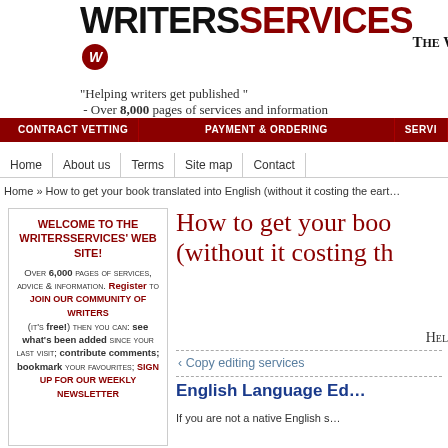[Figure (logo): WritersServices logo with red W badge]
THE WEBSITE
"Helping writers get published" - Over 8,000 pages of services and information
CHOOSING A SERVICE | WHAT'S NEW | GETTING PUBL...
CONTRACT VETTING | PAYMENT & ORDERING | SERVI...
Home | About us | Terms | Site map | Contact
Home » How to get your book translated into English (without it costing the eart...
WELCOME TO THE WRITERSSERVICES' WEB SITE! Over 6,000 pages of services, advice & information. Register to join our community of writers (it's free!) then you can: see what's been added since your last visit; contribute comments; bookmark your favourites; sign up for our weekly newsletter
How to get your boo... (without it costing th...
HEL...
‹ Copy editing services
English Language Ed...
If you are not a native English s...